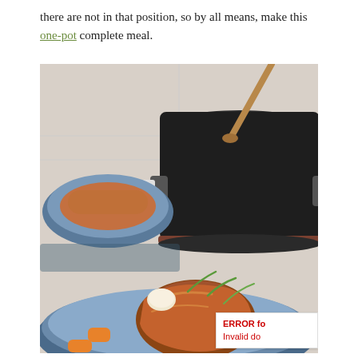there are not in that position, so by all means, make this one-pot complete meal.
[Figure (photo): A dark non-stick cooking pot with a wooden spoon on a white tile surface, with two blue ceramic bowls in the foreground containing a braised chicken dish with carrots, onions, and green onion garnish.]